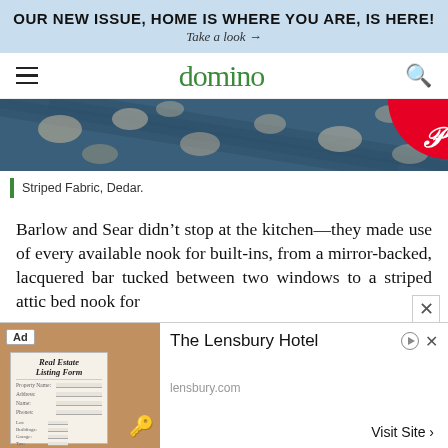OUR NEW ISSUE, HOME IS WHERE YOU ARE, IS HERE! Take a look →
domino
[Figure (photo): Striped fabric with decorative pattern in dark blue tones, with a Pinterest badge overlay in the top right corner.]
Striped Fabric, Dedar.
Barlow and Sear didn't stop at the kitchen—they made use of every available nook for built-ins, from a mirror-backed, lacquered bar tucked between two windows to a striped attic bed nook for
[Figure (screenshot): Advertisement for The Lensbury Hotel showing a real estate listing form image on the left, hotel name and lensbury.com URL on the right with a Visit Site button.]